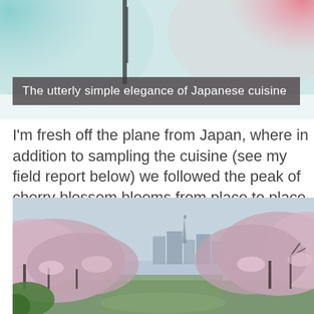[Figure (photo): Top portion of a photo showing blurred background with teal and pink/red bokeh colors, with a dark vertical element (possibly a pole or chopstick) visible]
The utterly simple elegance of Japanese cuisine
I'm fresh off the plane from Japan, where in addition to sampling the cuisine (see my field report below) we followed the peak of cherry blossom blooms from place to place by train. Peak bloom is only one week, and which week is not entirely predictable. We hit it!  And we were utterly and delightfully besotted. :)
[Figure (photo): Wide panoramic photograph of cherry blossom trees in full bloom lining a path or moat, with Tokyo city skyline including Tokyo Tower visible in the background under a grey sky]